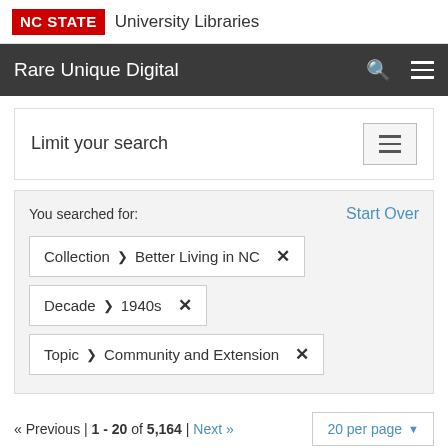NC STATE University Libraries
Rare Unique Digital
Limit your search
You searched for:
Start Over
Collection ❯ Better Living in NC ✕
Decade ❯ 1940s ✕
Topic ❯ Community and Extension ✕
« Previous | 1 - 20 of 5,164 | Next »
20 per page ▼